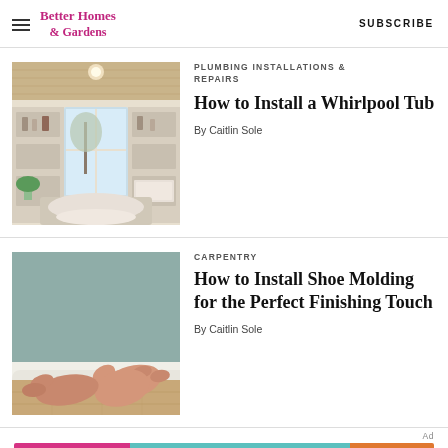Better Homes & Gardens   SUBSCRIBE
PLUMBING INSTALLATIONS & REPAIRS
How to Install a Whirlpool Tub
By Caitlin Sole
[Figure (photo): Bathroom with built-in shelves and large window over a whirlpool tub]
CARPENTRY
How to Install Shoe Molding for the Perfect Finishing Touch
By Caitlin Sole
[Figure (photo): Hands pressing white shoe molding against a sage green wall and wood floor]
[Figure (infographic): Ad banner: GET UP TO AN EXTRA 50% OFF  END OF SUMMER SALE-A-THON  SHOP NOW]